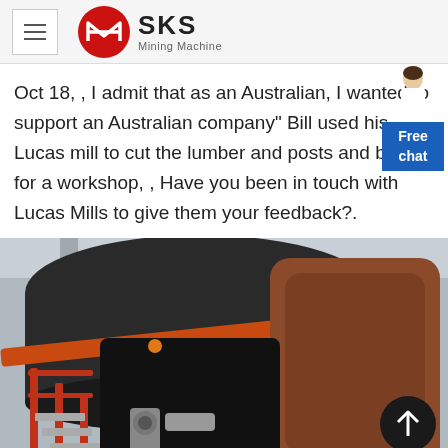SKS Mining Machine
Oct 18, , I admit that as an Australian, I wanted to support an Australian company” Bill used his Lucas mill to cut the lumber and posts and beams for a workshop, , Have you been in touch with Lucas Mills to give them your feedback?.
[Figure (photo): Close-up photo of industrial mining machine interior showing black cylindrical vessel, red straps, orange accent, brown panel, pipes and red staircase railing in an industrial facility.]